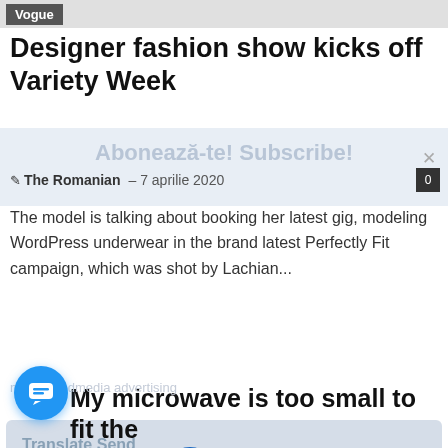Vogue
Designer fashion show kicks off Variety Week
✎ The Romanian  –  7 aprilie 2020
The model is talking about booking her latest gig, modeling WordPress underwear in the brand latest Perfectly Fit campaign, which was shot by Lachian...
[Figure (screenshot): Popup card with globe icon showing mapamondmedia advertising notification. Contains text: 'mapamondmedia advertising 🌐 Promovează afacerea ta aici. 🌐 Promote your business here.' with a close (×) button.]
[Figure (screenshot): Blue circular chat button at bottom left with chat bubble icon.]
My microwave is too small to fit the